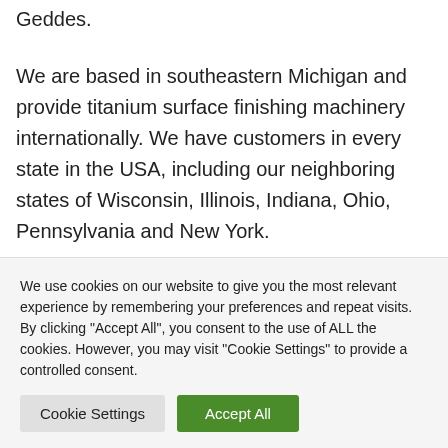Geddes.
We are based in southeastern Michigan and provide titanium surface finishing machinery internationally. We have customers in every state in the USA, including our neighboring states of Wisconsin, Illinois, Indiana, Ohio, Pennsylvania and New York.
Contact us now for your titanium surface finishing
We use cookies on our website to give you the most relevant experience by remembering your preferences and repeat visits. By clicking "Accept All", you consent to the use of ALL the cookies. However, you may visit "Cookie Settings" to provide a controlled consent.